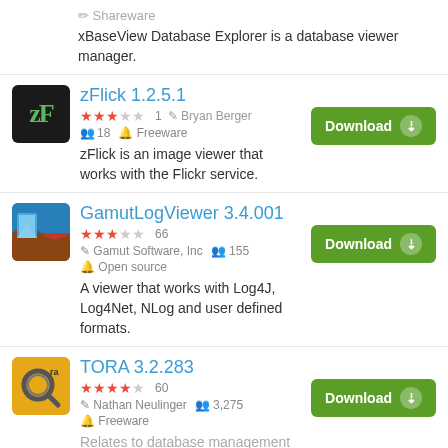Shareware
xBaseView Database Explorer is a database viewer manager.
zFlick 1.2.5.1
★★★☆☆ 1  ✏ Bryan Berger  👤 18  🏷 Freeware
zFlick is an image viewer that works with the Flickr service.
GamutLogViewer 3.4.001
★★★☆☆ 66  ✏ Gamut Software, Inc  👤 155  🏷 Open source
A viewer that works with Log4J, Log4Net, NLog and user defined formats.
TORA 3.2.283
★★★★☆ 60  ✏ Nathan Neulinger  👤 3,275  🏷 Freeware
Relates to database management with the SQL